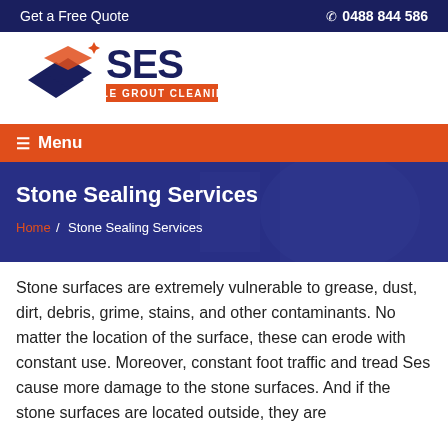Get a Free Quote   ☎ 0488 844 586
[Figure (logo): SES Tile Grout Cleaning logo with blue diamond shapes and orange accents]
≡ Menu
Stone Sealing Services
Home / Stone Sealing Services
Stone surfaces are extremely vulnerable to grease, dust, dirt, debris, grime, stains, and other contaminants. No matter the location of the surface, these can erode with constant use. Moreover, constant foot traffic and tread Ses cause more damage to the stone surfaces. And if the stone surfaces are located outside, they are